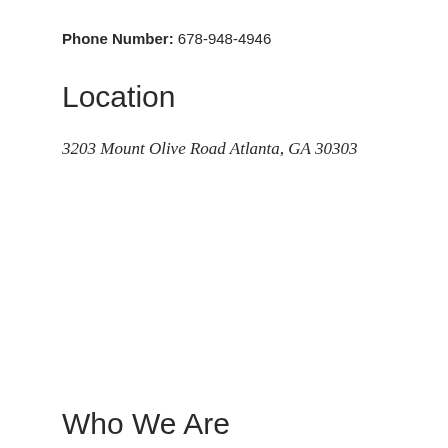Phone Number: 678-948-4946
Location
3203 Mount Olive Road Atlanta, GA 30303
Who We Are